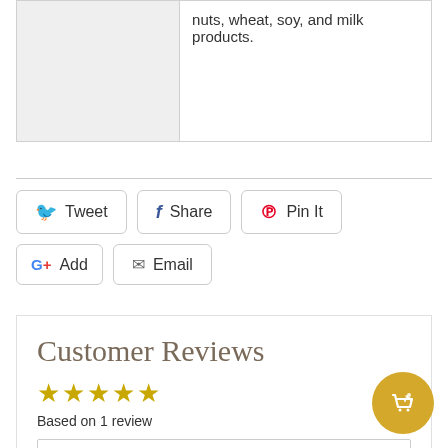|  | nuts, wheat, soy, and milk products. |
[Figure (infographic): Social sharing buttons: Tweet (Twitter), Share (Facebook), Pin It (Pinterest), Add (Google+), Email]
Customer Reviews
Based on 1 review
Write a review
100%  (1)
0%  (0)